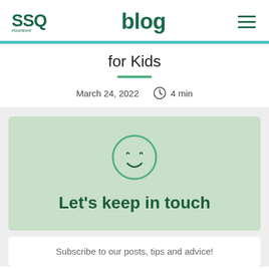SSQ Insurance blog
for Kids
March 24, 2022  4 min
[Figure (illustration): Smiley face circle icon in green outline with 'Let's keep in touch' heading on green background card]
Subscribe to our posts, tips and advice!